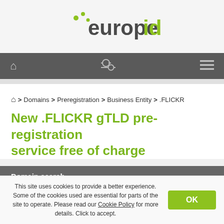[Figure (logo): europeid logo with green dots and text]
[Figure (screenshot): Navigation bar with home icon, settings/gear icon, and hamburger menu icon on dark gray background]
🏠 > Domains > Preregistration > Business Entity > .FLICKR
New .FLICKR gTLD pre-registration service free of charge
Domain search
Site search
This site uses cookies to provide a better experience. Some of the cookies used are essential for parts of the site to operate. Please read our Cookie Policy for more details. Click to accept.